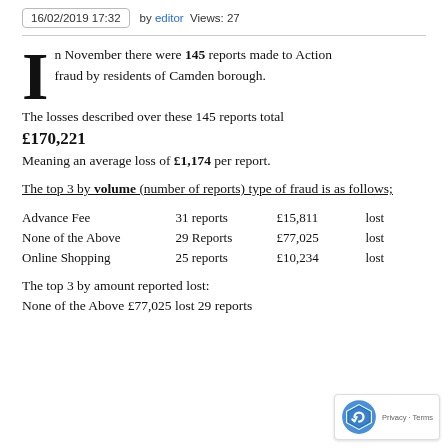16/02/2019 17:32  by editor  Views: 27
In November there were 145 reports made to Action fraud by residents of Camden borough. The losses described over these 145 reports total £170,221 Meaning an average loss of £1,174 per report.
The top 3 by volume (number of reports) type of fraud is as follows;
| Type | Count | Amount | Status |
| --- | --- | --- | --- |
| Advance Fee | 31 reports | £15,811 | lost |
| None of the Above | 29 Reports | £77,025 | lost |
| Online Shopping | 25 reports | £10,234 | lost |
The top 3 by amount reported lost:
None of the Above £77,025 lost 29 reports